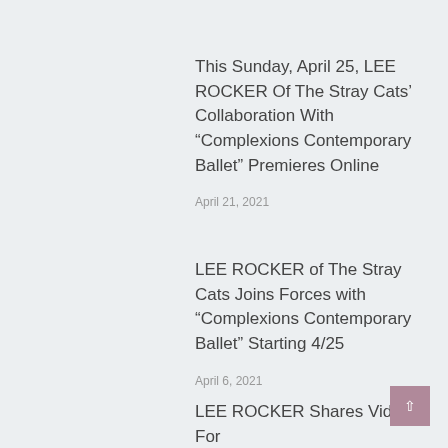This Sunday, April 25, LEE ROCKER Of The Stray Cats' Collaboration With “Complexions Contemporary Ballet” Premieres Online
April 21, 2021
LEE ROCKER of The Stray Cats Joins Forces with “Complexions Contemporary Ballet” Starting 4/25
April 6, 2021
LEE ROCKER Shares Video For